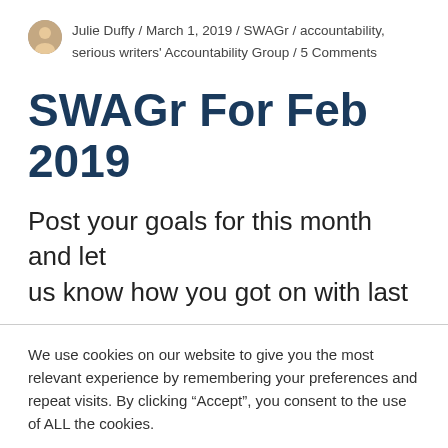Julie Duffy / March 1, 2019 / SWAGr / accountability, serious writers' Accountability Group / 5 Comments
SWAGr For Feb 2019
Post your goals for this month and let us know how you got on with last
We use cookies on our website to give you the most relevant experience by remembering your preferences and repeat visits. By clicking “Accept”, you consent to the use of ALL the cookies.
Do not sell my personal information.
Cookie Settings  Accept